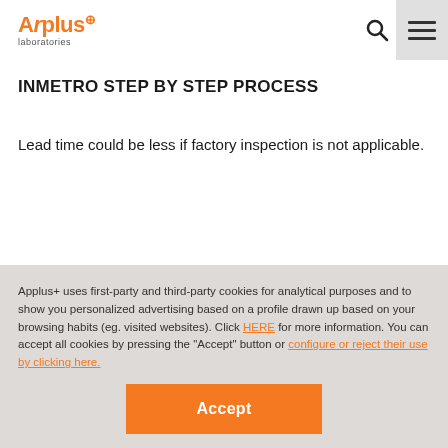[Figure (logo): Applus+ laboratories logo in orange]
INMETRO STEP BY STEP PROCESS
Lead time could be less if factory inspection is not applicable.
Applus+ uses first-party and third-party cookies for analytical purposes and to show you personalized advertising based on a profile drawn up based on your browsing habits (eg. visited websites). Click HERE for more information. You can accept all cookies by pressing the "Accept" button or configure or reject their use by clicking here.